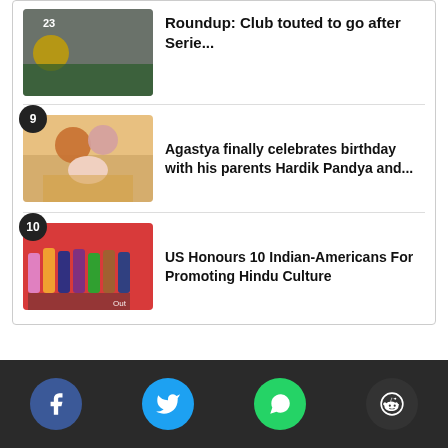Roundup: Club touted to go after Serie...
9 - Agastya finally celebrates birthday with his parents Hardik Pandya and...
10 - US Honours 10 Indian-Americans For Promoting Hindu Culture
Social share buttons: Facebook, Twitter, WhatsApp, Reddit